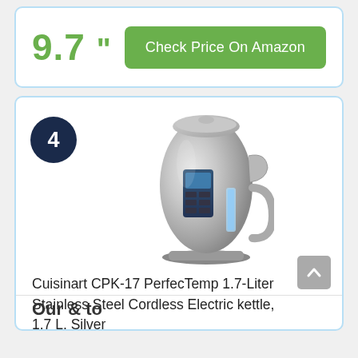9.7 "
Check Price On Amazon
4
[Figure (photo): Cuisinart CPK-17 PerfecTemp stainless steel cordless electric kettle in silver, shown from a front-side angle with blue LED accent lighting and digital control panel visible.]
Cuisinart CPK-17 PerfecTemp 1.7-Liter Stainless Steel Cordless Electric kettle, 1.7 L, Silver